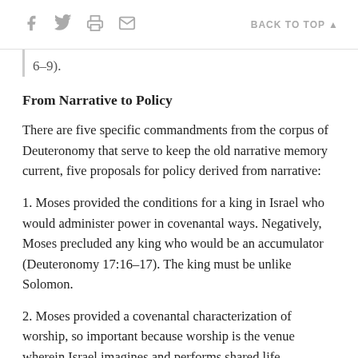f [twitter] [print] [mail]   BACK TO TOP ▲
6–9).
From Narrative to Policy
There are five specific commandments from the corpus of Deuteronomy that serve to keep the old narrative memory current, five proposals for policy derived from narrative:
1. Moses provided the conditions for a king in Israel who would administer power in covenantal ways. Negatively, Moses precluded any king who would be an accumulator (Deuteronomy 17:16–17). The king must be unlike Solomon.
2. Moses provided a covenantal characterization of worship, so important because worship is the venue wherein Israel imagines and performs shared life differently. In Deuteronomy 16:1–17, focus is upon the